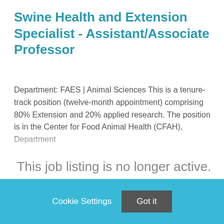Swine Health and Extension Specialist - Assistant/Associate Professor
Department: FAES | Animal Sciences This is a tenure-track position (twelve-month appointment) comprising 80% Extension and 20% applied research. The position is in the Center for Food Animal Health (CFAH), Department
This job listing is no longer active.
Cookie Settings  Got it
We use cookies so that we can remember you and understand how you use our site. If you do not agree with our use of cookies, please change the current settings found in our Cookie Policy. Otherwise, you agree to the use of the cookies as they are currently set.